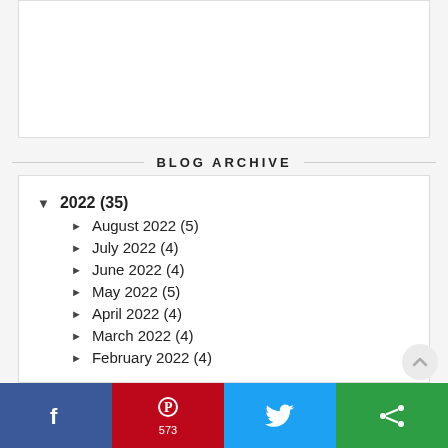[Figure (other): Empty white content box at the top of the page]
BLOG ARCHIVE
▼ 2022 (35)
► August 2022 (5)
► July 2022 (4)
► June 2022 (4)
► May 2022 (5)
► April 2022 (4)
► March 2022 (4)
► February 2022 (4)
[Figure (infographic): Social sharing bar with Facebook, Pinterest (573), Twitter, and share buttons]